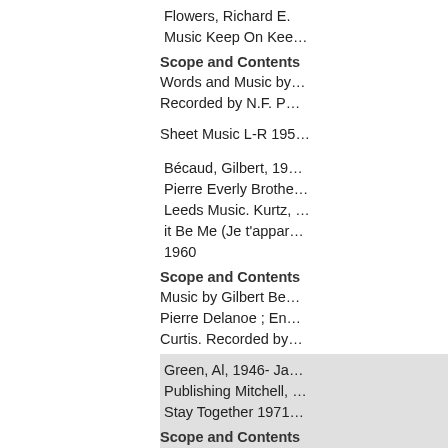Flowers, Richard E. Music Keep On Kee…
Scope and Contents
Words and Music by… Recorded by N.F. P…
Sheet Music L-R 195…
Bécaud, Gilbert, 19… Pierre Everly Brothe… Leeds Music. Kurtz, … it Be Me (Je t'appar… 1960
Scope and Contents
Music by Gilbert Be… Pierre Delanoe ; En… Curtis. Recorded by…
Green, Al, 1946- Ja… Publishing Mitchell, … Stay Together 1971…
Scope and Contents
Words and Music b…